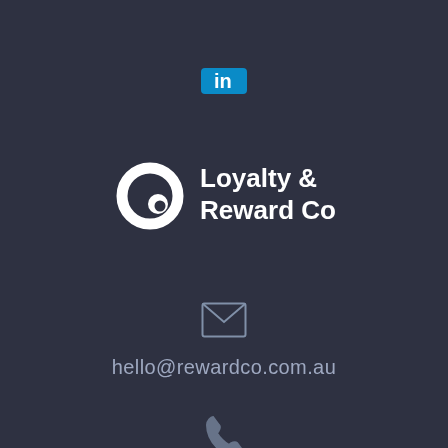[Figure (logo): LinkedIn icon: blue rounded square with white 'in' text]
[Figure (logo): Loyalty & Reward Co logo: white circular swirl icon with white bold text 'Loyalty & Reward Co']
[Figure (illustration): Email envelope icon in light grey outline]
hello@rewardco.com.au
[Figure (illustration): Phone handset icon in light grey]
+61 414 210 601